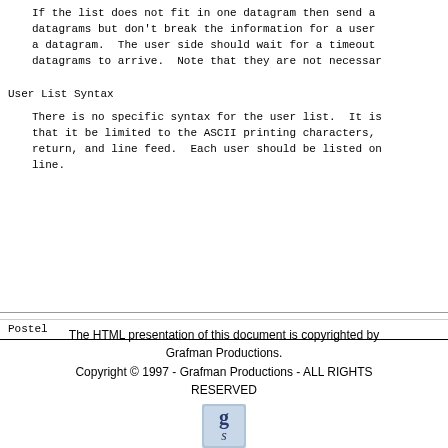If the list does not fit in one datagram then send a datagrams but don't break the information for a user a datagram.  The user side should wait for a timeout datagrams to arrive.  Note that they are not necessar
User List Syntax
There is no specific syntax for the user list.  It is that it be limited to the ASCII printing characters, return, and line feed.  Each user should be listed on line.
Postel
The HTML presentation of this document is copyrighted by Grafman Productions.
Copyright © 1997 - Grafman Productions - ALL RIGHTS RESERVED